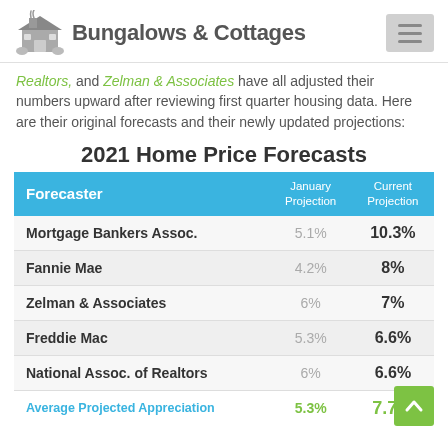[Figure (logo): Bungalows & Cottages logo with house icon]
Realtors, and Zelman & Associates have all adjusted their numbers upward after reviewing first quarter housing data. Here are their original forecasts and their newly updated projections:
2021 Home Price Forecasts
| Forecaster | January Projection | Current Projection |
| --- | --- | --- |
| Mortgage Bankers Assoc. | 5.1% | 10.3% |
| Fannie Mae | 4.2% | 8% |
| Zelman & Associates | 6% | 7% |
| Freddie Mac | 5.3% | 6.6% |
| National Assoc. of Realtors | 6% | 6.6% |